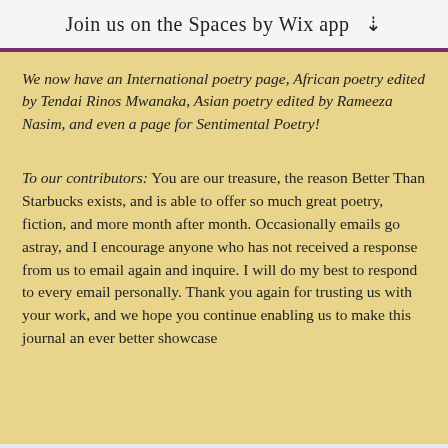Join us on the Spaces by Wix app ↓
We now have an International poetry page, African poetry edited by Tendai Rinos Mwanaka, Asian poetry edited by Rameeza Nasim, and even a page for Sentimental Poetry!
To our contributors: You are our treasure, the reason Better Than Starbucks exists, and is able to offer so much great poetry, fiction, and more month after month. Occasionally emails go astray, and I encourage anyone who has not received a response from us to email again and inquire. I will do my best to respond to every email personally. Thank you again for trusting us with your work, and we hope you continue enabling us to make this journal an ever better showcase